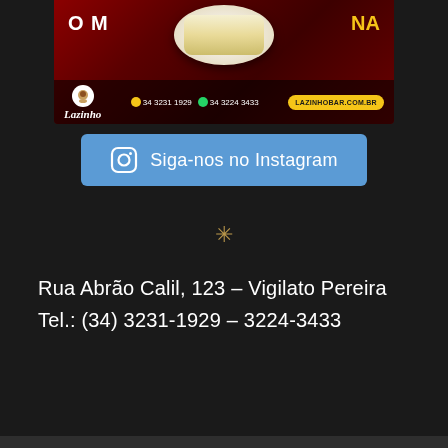[Figure (photo): Lazinho bar promotional banner with food photo, logo, phone numbers (34 3231 1929, 34 3224 3433), and website (LAZINHOBAR.COM.BR) on dark red background]
[Figure (other): Blue button with Instagram icon and text 'Siga-nos no Instagram']
*
Rua Abrão Calil, 123 – Vigilato Pereira
Tel.: (34) 3231-1929 – 3224-3433